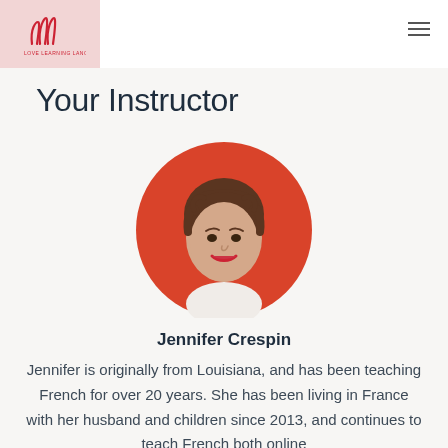Love Learning Languages logo
Your Instructor
[Figure (photo): Circular portrait photo of Jennifer Crespin, a woman with curly brown hair and red lipstick wearing a white shirt, set against a red circular background]
Jennifer Crespin
Jennifer is originally from Louisiana, and has been teaching French for over 20 years. She has been living in France with her husband and children since 2013, and continues to teach French both online